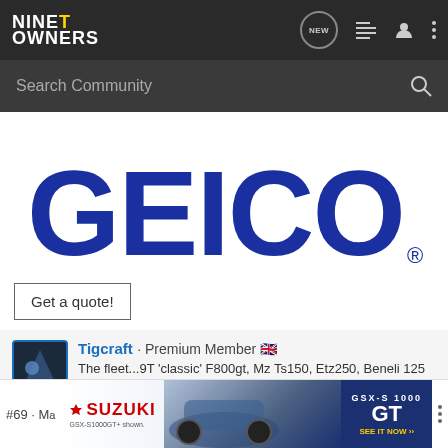NINET OWNERS — navigation bar with logo, NEW, list, user, and menu icons
Search Community
[Figure (logo): GEICO logo in large blue bold lettering with registered trademark symbol]
Get a quote!
Tigcraft · Premium Member 🇬🇧
The fleet...9T 'classic' F800gt, Mz Ts150, Etz250, Beneli 125 2c, TL1000s, Trx 850, Katana 250/4, X7
Joined Jun 23, 2021 · 474 Posts
[Figure (screenshot): Suzuki GSX-S1000 GT advertisement banner at bottom of page showing motorcycle and GT branding]